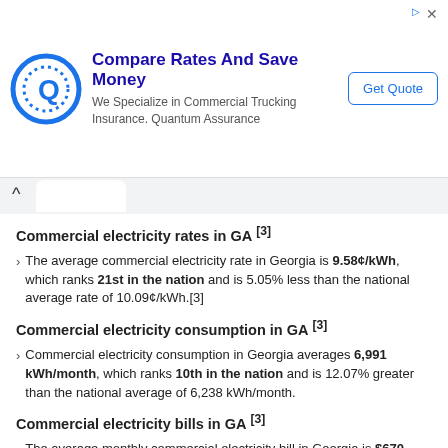[Figure (other): Advertisement banner: Compare Rates And Save Money – We Specialize in Commercial Trucking Insurance. Quantum Assurance. Get Quote button.]
Commercial electricity rates in GA [3]
The average commercial electricity rate in Georgia is 9.58¢/kWh, which ranks 21st in the nation and is 5.05% less than the national average rate of 10.09¢/kWh.[3]
Commercial electricity consumption in GA [3]
Commercial electricity consumption in Georgia averages 6,991 kWh/month, which ranks 10th in the nation and is 12.07% greater than the national average of 6,238 kWh/month.
Commercial electricity bills in GA [3]
The average monthly commercial electricity bill in Georgia is $670, which ranks 13th in the nation and is 6.52% greater than the national average of $629.
⚡ Learn more about commercial electricity in Georgia